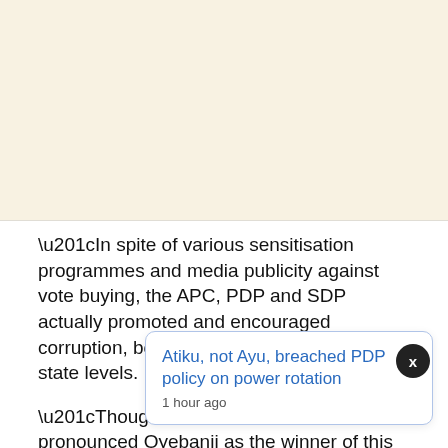[Figure (other): Blank cream/beige colored background area occupying the top portion of the page]
“In spite of various sensitisation programmes and media publicity against vote buying, the APC, PDP and SDP actually promoted and encouraged corruption, both at the grassroots and the state levels.
“Though the Commission has pronounced Oyebanji as the winner of this election, I, Kemi Flebute-Halle, hereby reject
Atiku, not Ayu, breached PDP policy on power rotation
1 hour ago